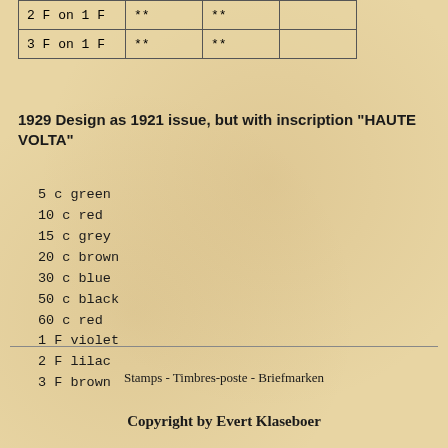|  |  |  |  |
| --- | --- | --- | --- |
| 2 F on 1 F | ** | ** |  |
| 3 F on 1 F | ** | ** |  |
1929 Design as 1921 issue, but with inscription "HAUTE VOLTA"
5 c green
10 c red
15 c grey
20 c brown
30 c blue
50 c black
60 c red
1 F violet
2 F lilac
3 F brown
Stamps - Timbres-poste - Briefmarken
Copyright by Evert Klaseboer